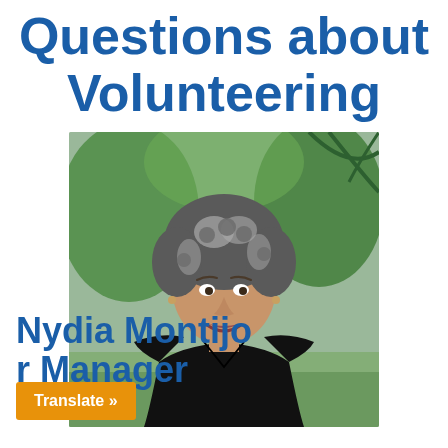Questions about Volunteering
[Figure (photo): Portrait photo of Nydia Montijo, a woman with curly gray-and-dark hair wearing a black sleeveless top, smiling outdoors with palm trees and green foliage in the background.]
Nydia Montijo
r Manager